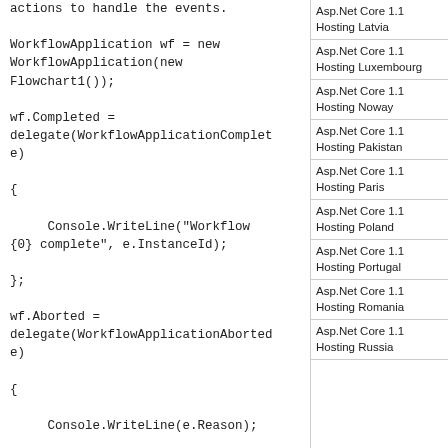actions to handle the events.
WorkflowApplication wf = new WorkflowApplication(new Flowchart1());

wf.Completed =
delegate(WorkflowApplicationComplete)

{

     Console.WriteLine("Workflow {0} complete", e.InstanceId);

};

wf.Aborted =
delegate(WorkflowApplicationAbortede)

{

     Console.WriteLine(e.Reason);

};

wf.OnUnhandledException =

delegate(WorkflowApplicationUnhandl
Asp.Net Core 1.1 Hosting Latvia
Asp.Net Core 1.1 Hosting Luxembourg
Asp.Net Core 1.1 Hosting Noway
Asp.Net Core 1.1 Hosting Pakistan
Asp.Net Core 1.1 Hosting Paris
Asp.Net Core 1.1 Hosting Poland
Asp.Net Core 1.1 Hosting Portugal
Asp.Net Core 1.1 Hosting Romania
Asp.Net Core 1.1 Hosting Russia